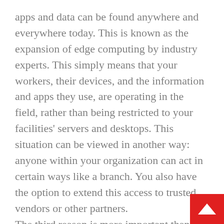apps and data can be found anywhere and everywhere today. This is known as the expansion of edge computing by industry experts. This simply means that your workers, their devices, and the information and apps they use, are operating in the field, rather than being restricted to your facilities' servers and desktops. This situation can be viewed in another way: anyone within your organization can act in certain ways like a branch. You also have the option to extend this access to trusted vendors or other partners. The third reason is more important than the first two. The proliferation of hybrid workforces and spreading computing ed